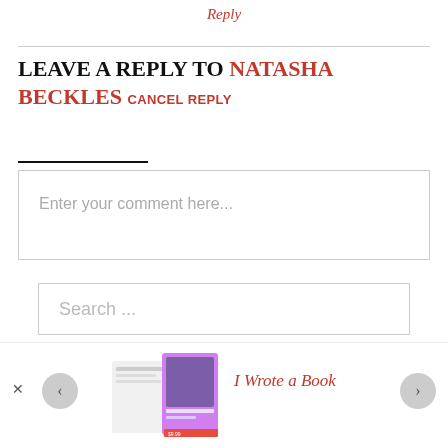Reply
LEAVE A REPLY TO NATASHA BECKLES CANCEL REPLY
Enter your comment here...
Search ...
[Figure (screenshot): Red submit button]
[Figure (screenshot): Bottom promotional bar showing a book cover image with title 'I Wrote a Book', with prev/next navigation arrows and a close button]